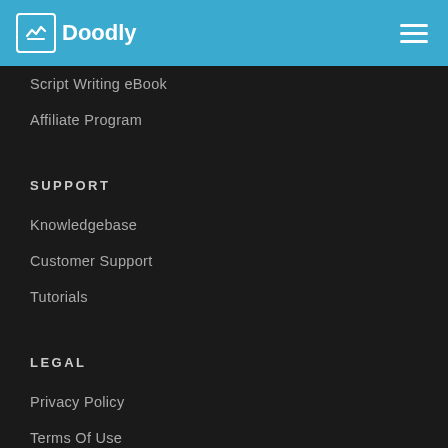Doodly
Script Writing eBook
Affiliate Program
SUPPORT
Knowledgebase
Customer Support
Tutorials
LEGAL
Privacy Policy
Terms Of Use
DMCA Policy
Open Source Licenses